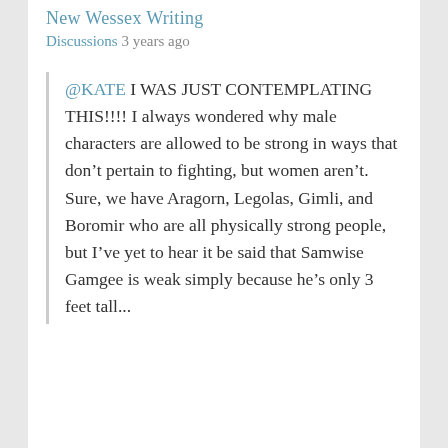New Wessex Writing
Discussions 3 years ago
@KATE I WAS JUST CONTEMPLATING THIS!!!! I always wondered why male characters are allowed to be strong in ways that don't pertain to fighting, but women aren't. Sure, we have Aragorn, Legolas, Gimli, and Boromir who are all physically strong people, but I've yet to hear it be said that Samwise Gamgee is weak simply because he's only 3 feet tall...